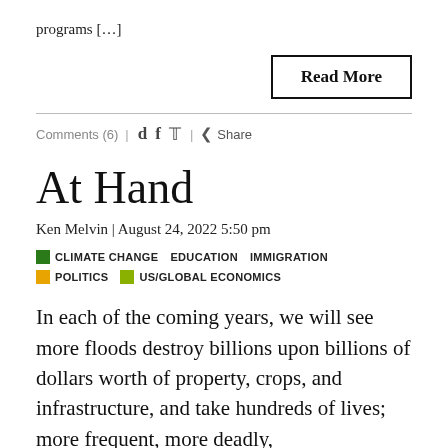programs […]
Read More
Comments (6) | d f t | < Share
At Hand
Ken Melvin | August 24, 2022 5:50 pm
CLIMATE CHANGE   EDUCATION   IMMIGRATION   POLITICS   US/GLOBAL ECONOMICS
In each of the coming years, we will see more floods destroy billions upon billions of dollars worth of property, crops, and infrastructure, and take hundreds of lives; more frequent, more deadly,